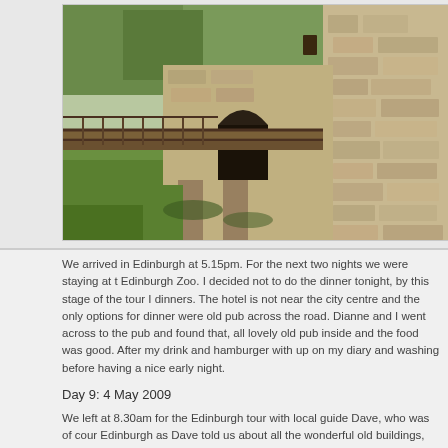[Figure (photo): Photograph of an old stone castle or fortification wall with an arched gateway and a wooden bridge/walkway. Green grass in the foreground and trees in the background.]
We arrived in Edinburgh at 5.15pm. For the next two nights we were staying at the Edinburgh Zoo. I decided not to do the dinner tonight, by this stage of the tour I dinners. The hotel is not near the city centre and the only options for dinner were old pub across the road. Dianne and I went across to the pub and found that, all lovely old pub inside and the food was good. After my drink and hamburger with up on my diary and washing before having a nice early night.
Day 9: 4 May 2009
We left at 8.30am for the Edinburgh tour with local guide Dave, who was of cour Edinburgh as Dave told us about all the wonderful old buildings, the churches,